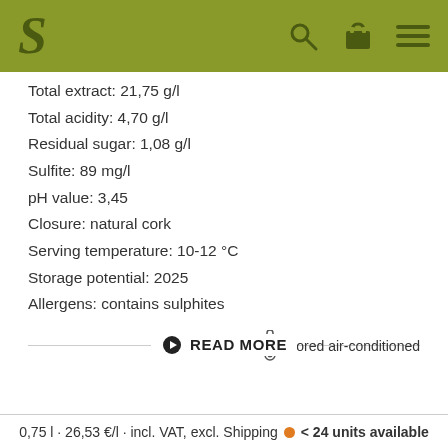S [logo] [search icon] [basket icon] [menu icon]
Total extract: 21,75 g/l
Total acidity: 4,70 g/l
Residual sugar: 1,08 g/l
Sulfite: 89 mg/l
pH value: 3,45
Closure: natural cork
Serving temperature: 10-12 °C
Storage potential: 2025
Allergens: contains sulphites
▶ READ MORE
stored air-conditioned
0,75 l · 26,53 €/l · incl. VAT, excl. Shipping • < 24 units available